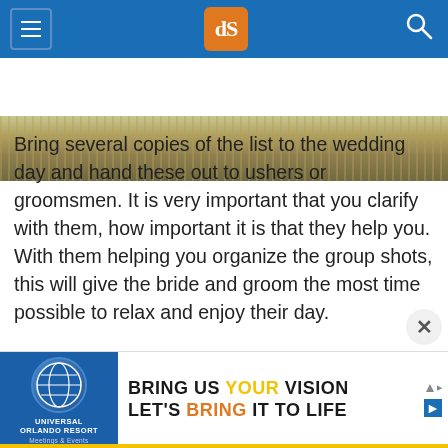dPS navigation header with hamburger menu, logo, and search icon
[Figure (photo): Landscape photo strip showing water reflections and trees in golden/green tones]
Bring several copies of the list to the wedding day and hand these out to ushers or groomsmen. It is very important that you clarify with them, how important it is that they help you. With them helping you organize the group shots, this will give the bride and groom the most time possible to relax and enjoy their day.
Normally the ushers will help you, as they are
[Figure (infographic): Advertisement banner: Universal Orlando Resort Meetings & Events — BRING US YOUR VISION LET'S BRING IT TO LIFE]